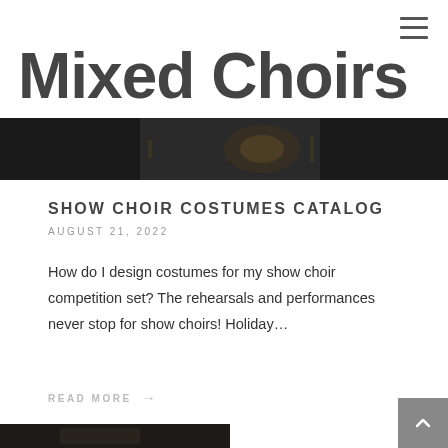Mixed Choirs
[Figure (photo): Dark background banner image showing a person holding a brass instrument, partially obscured by the Mixed Choirs title text]
SHOW CHOIR COSTUMES CATALOG
AUGUST 21, 2022
How do I design costumes for my show choir competition set? The rehearsals and performances never stop for show choirs! Holiday…
READ MORE →